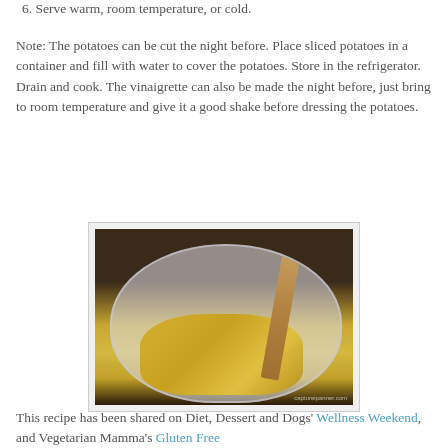6. Serve warm, room temperature, or cold.
Note: The potatoes can be cut the night before. Place sliced potatoes in a container and fill with water to cover the potatoes. Store in the refrigerator. Drain and cook. The vinaigrette can also be made the night before, just bring to room temperature and give it a good shake before dressing the potatoes.
[Figure (photo): A clear plastic bowl containing yellow potato salad being mixed with a wooden spoon, photographed from above on a dark background. Watermark visible in bottom right corner.]
This recipe has been shared on Diet, Dessert and Dogs' Wellness Weekend, and Vegetarian Mamma's Gluten Free